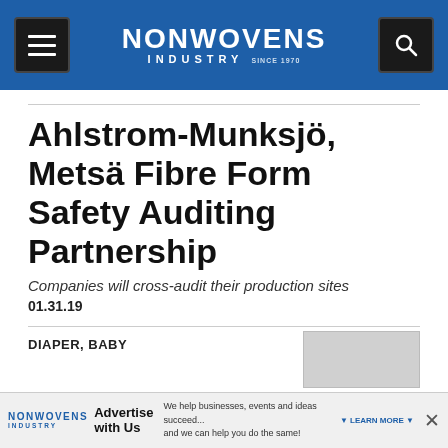NONWOVENS INDUSTRY
Ahlstrom-Munksjö, Metsä Fibre Form Safety Auditing Partnership
Companies will cross-audit their production sites
01.31.19
DIAPER, BABY
[Figure (other): Advertisement banner for Nonwovens Industry: 'Advertise with Us — We help businesses, events and ideas succeed... and we can help you do the same!']